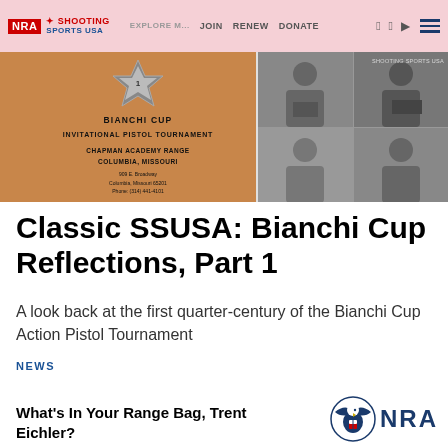NRA Shooting Sports USA | JOIN | RENEW | DONATE
[Figure (photo): Hero image showing a Bianchi Cup Invitational Pistol Tournament program cover (tan/brown background with badge and event details) alongside a grid of black-and-white photos of a shooter aiming a pistol]
Classic SSUSA: Bianchi Cup Reflections, Part 1
A look back at the first quarter-century of the Bianchi Cup Action Pistol Tournament
NEWS
What's In Your Range Bag, Trent Eichler?
[Figure (logo): NRA eagle logo with NRA text]